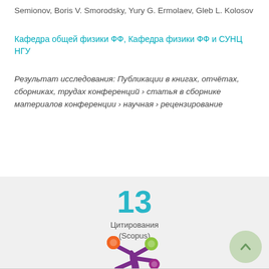Semionov, Boris V. Smorodsky, Yury G. Ermolaev, Gleb L. Kolosov
Кафедра общей физики ФФ, Кафедра физики ФФ и СУНЦ НГУ
Результат исследования: Публикации в книгах, отчётах, сборниках, трудах конференций › статья в сборнике материалов конференции › научная › рецензирование
13 Цитирования (Scopus)
[Figure (logo): Altmetric logo — abstract colorful flower/asterisk shape with orange, green, purple dots on a dark purple stem]